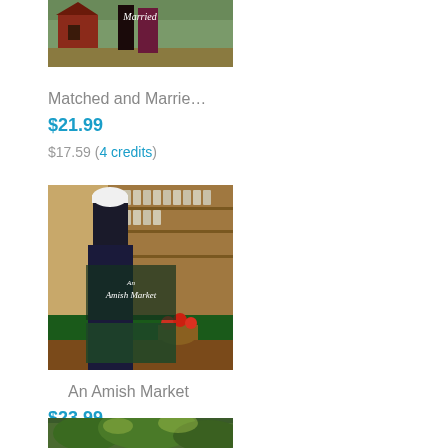[Figure (photo): Book cover for 'Matched and Married' showing an Amish couple walking near a red barn, partially cropped at top]
Matched and Marrie…
$21.99
$17.59 (4 credits)
[Figure (photo): Book cover for 'An Amish Market' showing an Amish woman in dark dress and white cap standing in front of market shelves]
An Amish Market
$23.99
$19.19 (4 credits)
[Figure (photo): Partially visible book cover at bottom of page, showing green foliage and nature scene]